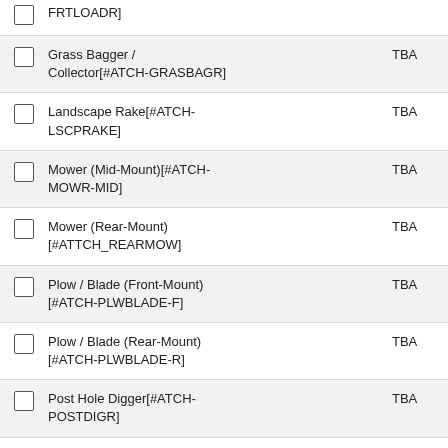FRTLOADR]  TBA
Grass Bagger / Collector[#ATCH-GRASBAGR]  TBA
Landscape Rake[#ATCH-LSCPRAKE]  TBA
Mower (Mid-Mount)[#ATCH-MOWR-MID]  TBA
Mower (Rear-Mount) [#ATTCH_REARMOW]  TBA
Plow / Blade (Front-Mount) [#ATCH-PLWBLADE-F]  TBA
Plow / Blade (Rear-Mount) [#ATCH-PLWBLADE-R]  TBA
Post Hole Digger[#ATCH-POSTDIGR]  TBA
Rotary Broom[#ATCH-ROTARYBRM]  TBA
Snow Blower (Front-Mount) [#ATCH-SNOWBLWR-F]  TBA
Snow Blower (Rear-Mount) [#ATCH-SNOWBLWR-R]  TBA